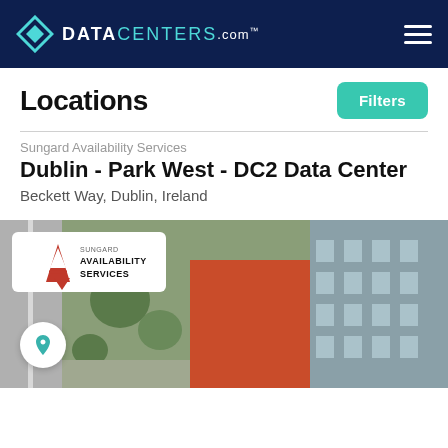DATACENTERS.com
Locations
Sungard Availability Services
Dublin - Park West - DC2 Data Center
Beckett Way, Dublin, Ireland
[Figure (photo): Aerial view of Dublin Park West DC2 Data Center with Sungard Availability Services logo overlay. Shows a building with orange/red roof surrounded by greenery and roads.]